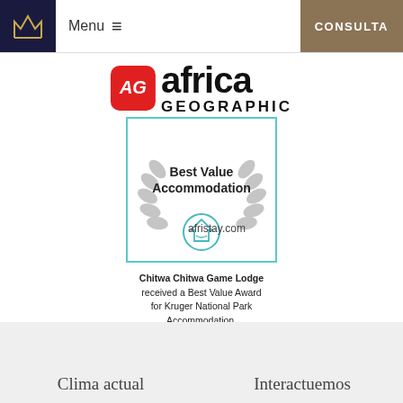Menu ≡  CONSULTA
[Figure (logo): Africa Geographic logo with red AG badge and black text]
[Figure (illustration): Afristay.com Best Value Accommodation award badge with laurel wreath and teal border]
Chitwa Chitwa Game Lodge received a Best Value Award for Kruger National Park Accommodation.
Clima actual
Interactuemos